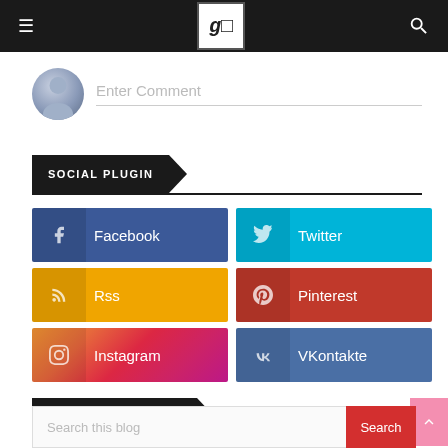≡  [logo]  🔍
Enter Comment
SOCIAL PLUGIN
Facebook
Twitter
Rss
Pinterest
Instagram
VKontakte
SEARCH THIS BLOG
Search this blog
Search